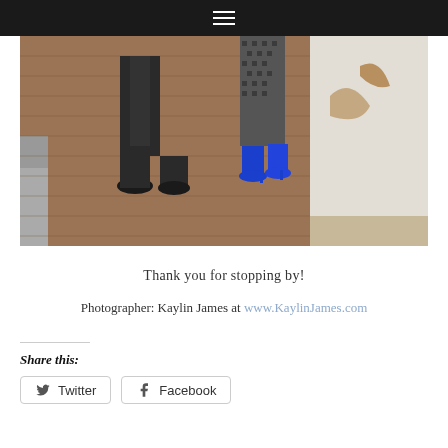[Figure (photo): Two people standing on a brick sidewalk, showing only their legs and feet. One person wears black tights and black heels; the other wears black and white patterned pants and bright blue heels. A white-painted brick wall is visible in the background.]
Thank you for stopping by!
Photographer: Kaylin James at www.KaylinJames.com
Share this:
Twitter
Facebook